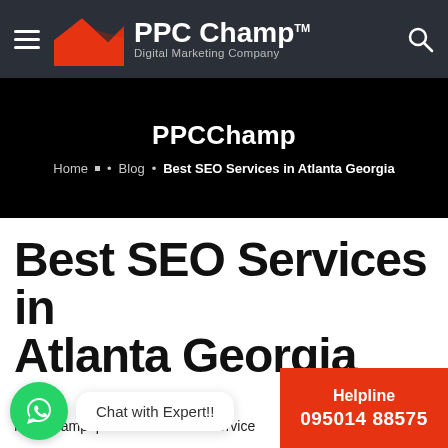[Figure (logo): PPC Champ Digital Marketing Company logo with orange mountain/chart icon, white text on dark background, hamburger menu and search icon]
PPCChamp
Home • Blog • Best SEO Services in Atlanta Georgia
Best SEO Services in Atlanta Georgia
Chat with Expert!!
Helpline 095014 88575
PPCChamp provide Best SEO service